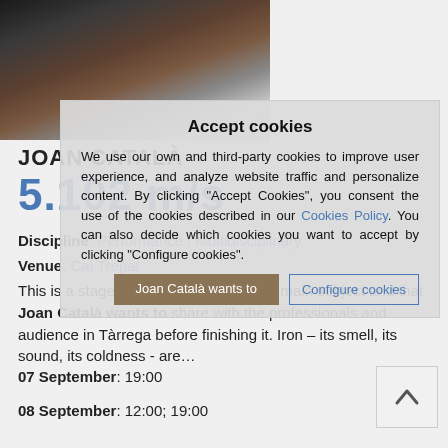[Figure (photo): Photo of a person playing a stringed instrument (double bass or cello), shown from torso down, dark background]
JOAN CATALÀ
5.102 m/s
Discipline: Performance / Multidisciplinary
Venue: Cal Trepat
This is a stage work that has iron as its main subject and that Joan Català wants to share with the professionals and audience in Tàrrega before finishing it. Iron – its smell, its sound, its coldness - are…
07 September: 19:00
08 September: 12:00; 19:00
Accept cookies

We use our own and third-party cookies to improve user experience, and analyze website traffic and personalize content. By clicking "Accept Cookies", you consent the use of the cookies described in our Cookies Policy. You can also decide which cookies you want to accept by clicking "Configure cookies".